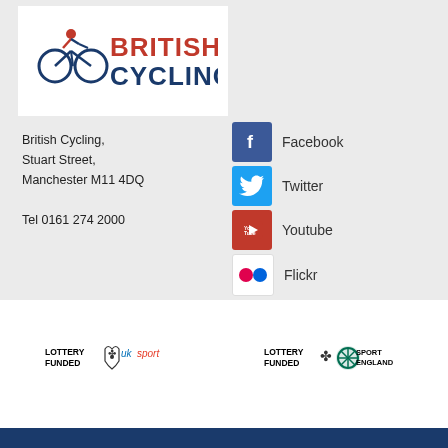[Figure (logo): British Cycling logo with red and dark blue text and cyclist icon]
British Cycling,
Stuart Street,
Manchester M11 4DQ

Tel 0161 274 2000
[Figure (infographic): Social media icons and labels: Facebook (blue), Twitter (light blue), Youtube (red), Flickr (white with dots)]
[Figure (logo): Lottery Funded UK Sport logo]
[Figure (logo): Lottery Funded Sport England logo]